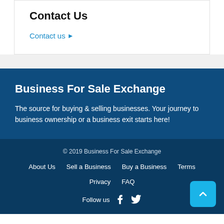Contact Us
Contact us ▶
Business For Sale Exchange
The source for buying & selling businesses. Your journey to business ownership or a business exit starts here!
© 2019 Business For Sale Exchange
About Us
Sell a Business
Buy a Business
Terms
Privacy
FAQ
Follow us